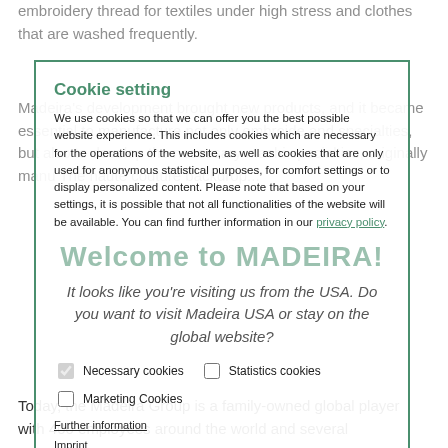embroidery thread for textiles under high stress and clothes that are washed frequently.
Cookie setting
We use cookies so that we can offer you the best possible website experience. This includes cookies which are necessary for the operations of the website, as well as cookies that are only used for anonymous statistical purposes, for comfort settings or to display personalized content. Please note that based on your settings, it is possible that not all functionalities of the website will be available. You can find further information in our privacy policy.
Welcome to MADEIRA!
It looks like you're visiting us from the USA. Do you want to visit Madeira USA or stay on the global website?
Necessary cookies
Statistics cookies
Marketing Cookies
Further information
Imprint
Stay on global website
Show details
CONFIRM SELECTION
Yes, take me to madeirausa.com
SELECT ALL
Today, the Madeira Group is a family-owned global player with 400 employees around the world and several